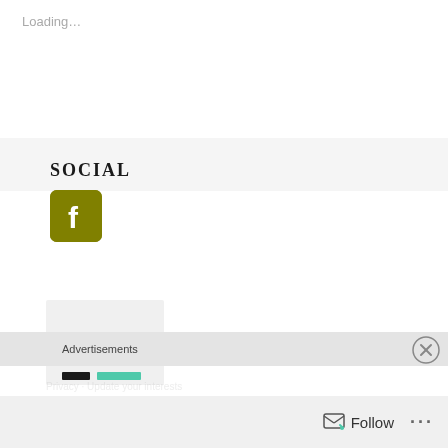Loading…
SOCIAL
[Figure (logo): Facebook logo icon — olive/dark yellow square with rounded corners and white 'f' letterform]
[Figure (screenshot): Partial card/image placeholder box in light gray]
Advertisements
[Figure (other): Close button circle with X inside]
Follow
...